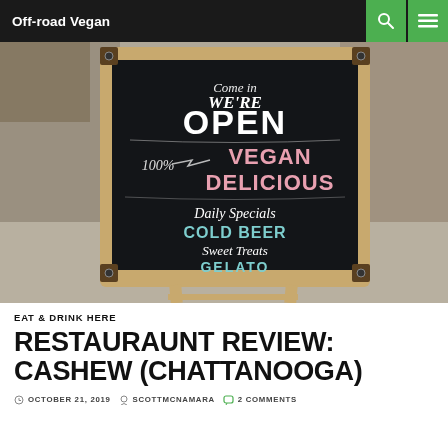Off-road Vegan
[Figure (photo): A chalkboard sandwich sign outside a restaurant reading: Come in WE'RE OPEN, 100% VEGAN DELICIOUS, Daily Specials, COLD BEER, Sweet Treats, GELATO. The sign has a wooden frame and sits on a sidewalk.]
EAT & DRINK HERE
RESTAURAUNT REVIEW: CASHEW (CHATTANOOGA)
OCTOBER 21, 2019   SCOTTMCNAMARA   2 COMMENTS